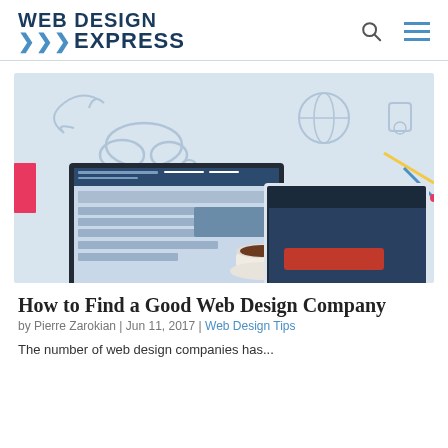WEB DESIGN EXPRESS
[Figure (illustration): Illustration of a desktop computer and laptop on a desk with a coffee cup, keyboard, and web design doodles in the background]
How to Find a Good Web Design Company
by Pierre Zarokian | Jun 11, 2017 | Web Design Tips
The number of web design companies has...